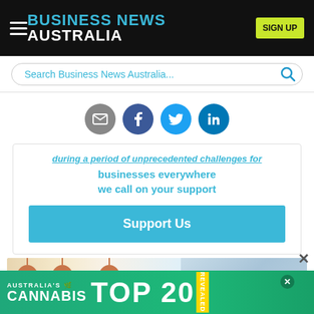BUSINESS NEWS AUSTRALIA — SIGN UP
Search Business News Australia...
[Figure (infographic): Four social share icons: email (grey circle), Facebook (dark blue circle), Twitter (blue circle), LinkedIn (teal blue circle)]
during a period of unprecedented challenges for businesses everywhere we call on your support
Support Us
[Figure (photo): Interior office scene with hanging wicker/wooden pendant lamps, a woman in the center, and a glass building visible through the window]
[Figure (infographic): Advertisement banner: AUSTRALIA'S CANNABIS TOP 20 REVEALED in green background with yellow diagonal stripe]